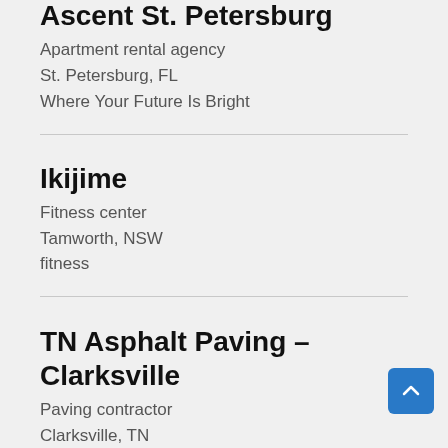Ascent St. Petersburg
Apartment rental agency
St. Petersburg, FL
Where Your Future Is Bright
Ikijime
Fitness center
Tamworth, NSW
fitness
TN Asphalt Paving – Clarksville
Paving contractor
Clarksville, TN